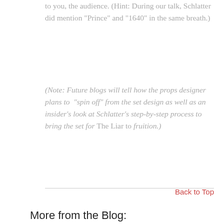to you, the audience. (Hint: During our talk, Schlatter did mention "Prince" and "1640" in the same breath.)
(Note: Future blogs will tell how the props designer plans to “spin off” from the set design as well as an insider’s look at Schlatter’s step-by-step process to bring the set for The Liar to fruition.)
Back to Top
More from the Blog: